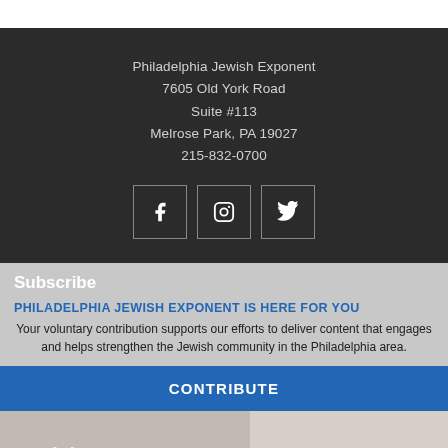Philadelphia Jewish Exponent
7605 Old York Road
Suite #113
Melrose Park, PA 19027
215-832-0700
[Figure (infographic): Three social media icons in bordered squares: Facebook (f), Instagram (camera), Twitter (bird)]
Subscribe
PHILADELPHIA JEWISH EXPONENT IS HERE FOR YOU
Your voluntary contribution supports our efforts to deliver content that engages and helps strengthen the Jewish community in the Philadelphia area.
CONTRIBUTE
[Figure (photo): Partial image strip at bottom showing newspaper masthead with text 'Jewish Exp...' in italic bold]